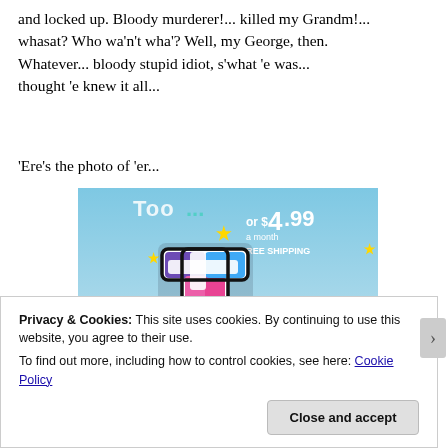and locked up. Bloody murderer!... killed my Grandm!... whasat? Who wa'n't wha'? Well, my George, then. Whatever... bloody stupid idiot, s'what 'e was... thought 'e knew it all...
'Ere's the photo of 'er...
[Figure (screenshot): Tumblr advertisement showing the Tumblr 't' logo in pink/purple/white on a blue sky background with yellow sparkle stars. Text reads 'Too...' and 'or $4.99 a month + FREE SHIPPING']
Privacy & Cookies: This site uses cookies. By continuing to use this website, you agree to their use.
To find out more, including how to control cookies, see here: Cookie Policy
Close and accept